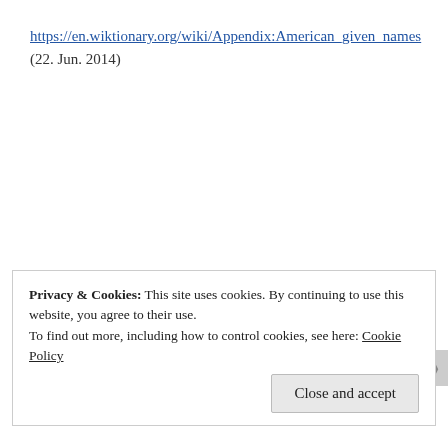https://en.wiktionary.org/wiki/Appendix:American_given_names
(22. Jun. 2014)
Posted in Fantasy and linguistics, Onomastics	2 Comments
Tagged A Song of Ice and Fire, Game of Thrones, Names, Navnegransking, North American culture, North American name tradition, Onomastics,
Privacy & Cookies: This site uses cookies. By continuing to use this website, you agree to their use.
To find out more, including how to control cookies, see here: Cookie Policy
Close and accept